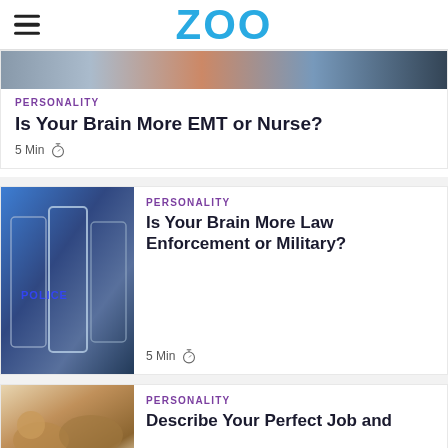ZOO
[Figure (photo): Partial view of a person, cropped at top of card]
PERSONALITY
Is Your Brain More EMT or Nurse?
5 Min
[Figure (photo): Police riot shields, officers in blue]
PERSONALITY
Is Your Brain More Law Enforcement or Military?
5 Min
[Figure (photo): Dogs, animals, beige and brown tones]
PERSONALITY
Describe Your Perfect Job and